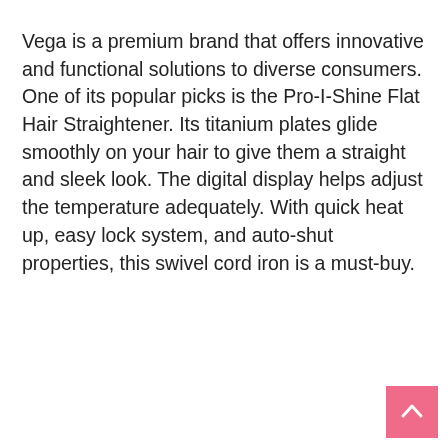Vega is a premium brand that offers innovative and functional solutions to diverse consumers. One of its popular picks is the Pro-I-Shine Flat Hair Straightener. Its titanium plates glide smoothly on your hair to give them a straight and sleek look. The digital display helps adjust the temperature adequately. With quick heat up, easy lock system, and auto-shut properties, this swivel cord iron is a must-buy.